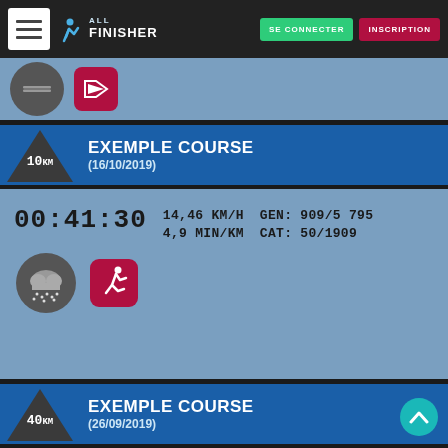ALL FINISHER — SE CONNECTER — INSCRIPTION
[Figure (screenshot): Partially visible card with grey circle icon and red badge icon on blue background]
EXEMPLE COURSE (16/10/2019) — 10km badge
00:41:30   14,46 KM/H   GEN: 909/5 795
4,9 MIN/KM   CAT: 50/1909
[Figure (illustration): Weather icon showing rain cloud, and running figure icon on red background]
EXEMPLE COURSE (26/09/2019) — 40km badge